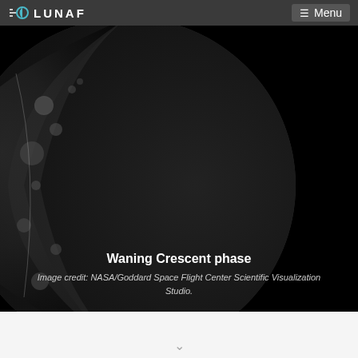LUNAF  Menu
[Figure (photo): Waning Crescent moon phase photograph showing the left crescent of the moon illuminated against a black background, with the rest of the moon in shadow. High-detail image showing lunar surface craters on the illuminated crescent side.]
Waning Crescent phase
Image credit: NASA/Goddard Space Flight Center Scientific Visualization Studio.